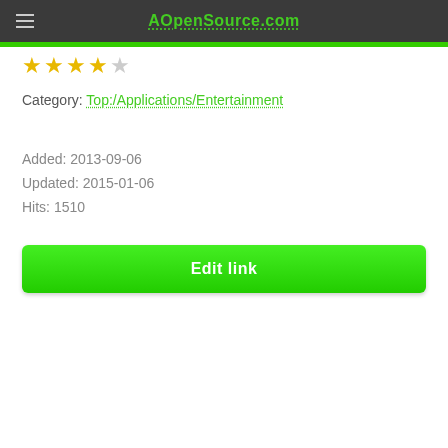AOpenSource.com
[Figure (other): Four filled gold stars and one empty star rating]
Category: Top:/Applications/Entertainment
Added: 2013-09-06
Updated: 2015-01-06
Hits: 1510
Edit link